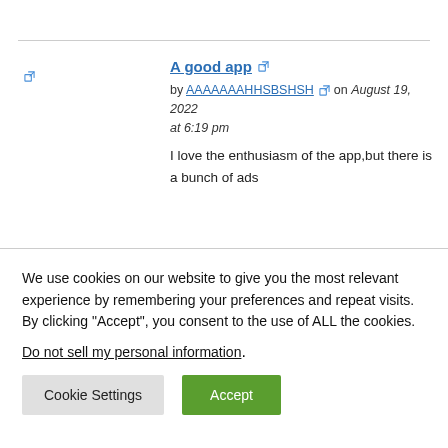A good app
by AAAAAAAHHSBSHSH on August 19, 2022 at 6:19 pm
I love the enthusiasm of the app,but there is a bunch of ads
We use cookies on our website to give you the most relevant experience by remembering your preferences and repeat visits. By clicking “Accept”, you consent to the use of ALL the cookies.
Do not sell my personal information.